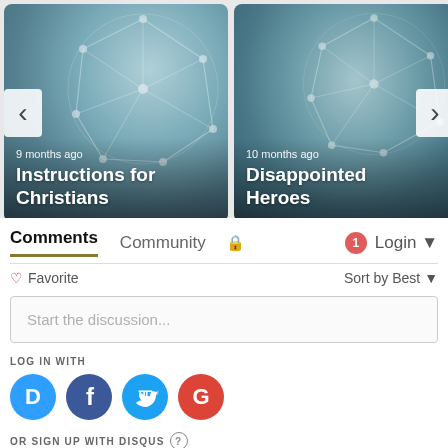[Figure (screenshot): Two article card thumbnails with teal network graph background images. Left card: '9 months ago / Instructions for Christians' with left navigation arrow. Right card: '10 months ago / Disappointed Heroes' with right navigation arrow.]
Comments  Community  🔒  1  Login ▾
♡ Favorite     Sort by Best ▾
Start the discussion...
LOG IN WITH
[Figure (logo): Four social login icons: Disqus (blue circle with D), Facebook (dark blue circle with f), Twitter (cyan circle with bird), Google (red circle with G)]
OR SIGN UP WITH DISQUS ?